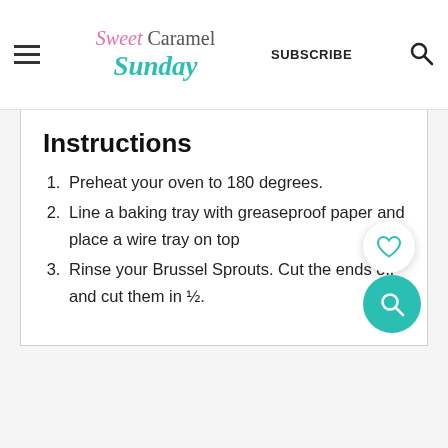Sweet Caramel Sunday | SUBSCRIBE
Instructions
Preheat your oven to 180 degrees.
Line a baking tray with greaseproof paper and place a wire tray on top
Rinse your Brussel Sprouts. Cut the ends off and cut them in ½.